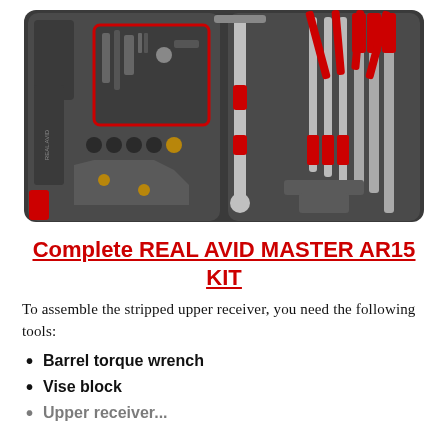[Figure (photo): Open tool kit case showing the Real Avid Master AR15 Kit with various gunsmithing tools including barrel torque wrench, vise block, punches, and other AR-15 assembly tools arranged in a molded foam case.]
Complete REAL AVID MASTER AR15 KIT
To assemble the stripped upper receiver, you need the following tools:
Barrel torque wrench
Vise block
Upper receiver...